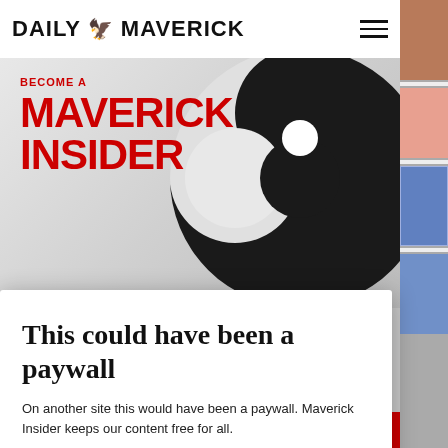DAILY MAVERICK
[Figure (logo): Become a Maverick Insider promotional banner with large circular logo graphic and bold red text]
This could have been a paywall
On another site this would have been a paywall. Maverick Insider keeps our content free for all.
Become an Insider